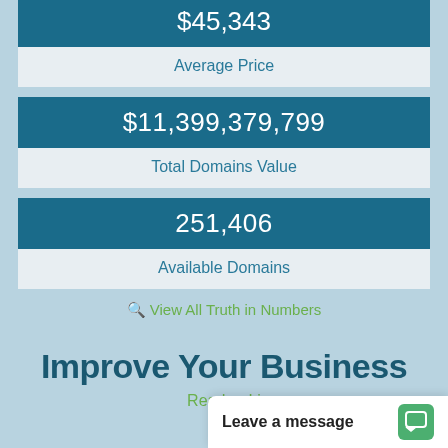$45,343
Average Price
$11,399,379,799
Total Domains Value
251,406
Available Domains
View All Truth in Numbers
Improve Your Business
Read or Li...
Leave a message